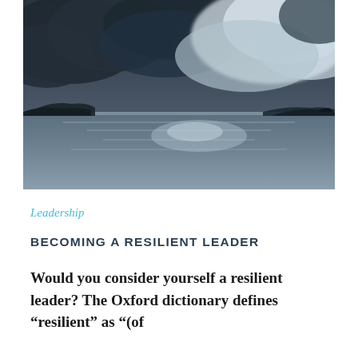[Figure (photo): Dramatic stormy seascape with dark storm clouds over a calm grey lake or sea, with distant hills or islands on the horizon. Long-exposure style photography with muted blue-grey tones.]
Leadership
BECOMING A RESILIENT LEADER
Would you consider yourself a resilient leader? The Oxford dictionary defines “resilient” as “(of